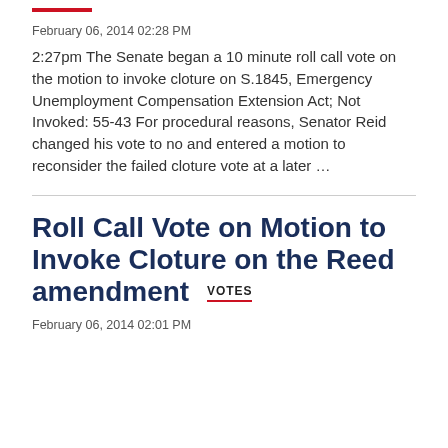February 06, 2014 02:28 PM
2:27pm The Senate began a 10 minute roll call vote on the motion to invoke cloture on S.1845, Emergency Unemployment Compensation Extension Act; Not Invoked: 55-43 For procedural reasons, Senator Reid changed his vote to no and entered a motion to reconsider the failed cloture vote at a later …
Roll Call Vote on Motion to Invoke Cloture on the Reed amendment VOTES
February 06, 2014 02:01 PM